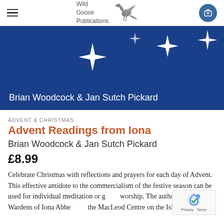Wild Goose Publications
[Figure (illustration): Book cover banner with dark blue background, white star/snowflake decorations, and author name 'Brian Woodcock & Jan Sutch Pickard' in white text]
ADVENT & CHRISTMAS
Advent Readings from Iona
Brian Woodcock & Jan Sutch Pickard
£8.99
Celebrate Christmas with reflections and prayers for each day of Advent. This effective antidote to the commercialism of the festive season can be used for individual meditation or group worship. The authors are former Wardens of Iona Abbey and the MacLeod Centre on the Isle of Iona.